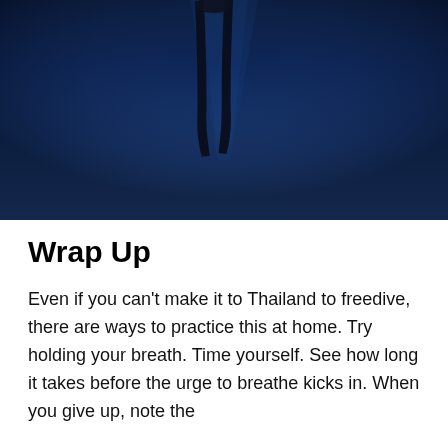[Figure (photo): Underwater photo showing a freediver descending into deep blue water, viewed from below. The diver's fins — two dark blade fins — are visible at the top center against a gradient of deep blue.]
Wrap Up
Even if you can't make it to Thailand to freedive, there are ways to practice this at home. Try holding your breath. Time yourself. See how long it takes before the urge to breathe kicks in. When you give up, note the